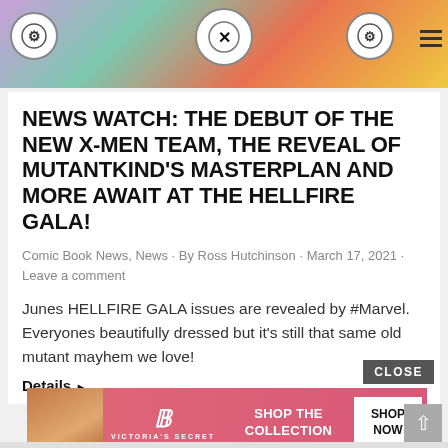[Figure (screenshot): Top banner with comic book imagery, logos on left, center and right, and hamburger menu icon]
NEWS WATCH: THE DEBUT OF THE NEW X-MEN TEAM, THE REVEAL OF MUTANTKIND'S MASTERPLAN AND MORE AWAIT AT THE HELLFIRE GALA!
Comic Book News, News · By Ross Hutchinson · March 17, 2021 · Leave a comment
Junes HELLFIRE GALA issues are revealed by #Marvel. Everyones beautifully dressed but it's still that same old mutant mayhem we love!
Details ▶
[Figure (photo): Victoria's Secret advertisement banner with model, VS logo, SHOP THE COLLECTION text, and SHOP NOW button]